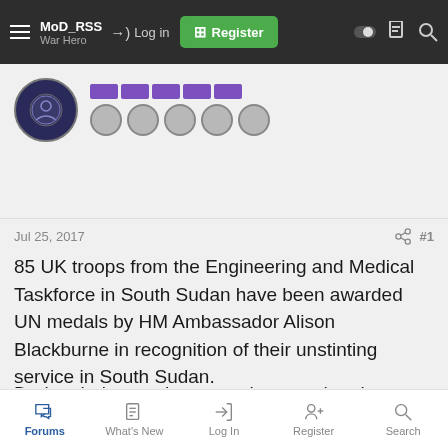MoD_RSS War Hero — Log in | Register
[Figure (other): User avatar circle with military emblem, purple medal ribbons row, and grey medal circles row]
Jul 25, 2017   #1
85 UK troops from the Engineering and Medical Taskforce in South Sudan have been awarded UN medals by HM Ambassador Alison Blackburne in recognition of their unstinting service in South Sudan.
During their tour, the troops have undertaken projects including support of remedial works to a jetty on the River Nile and helicopter landing sites, flood prevention and other infrastructure improvements, as well as the construction of
Forums   What's New   Log In   Register   Search